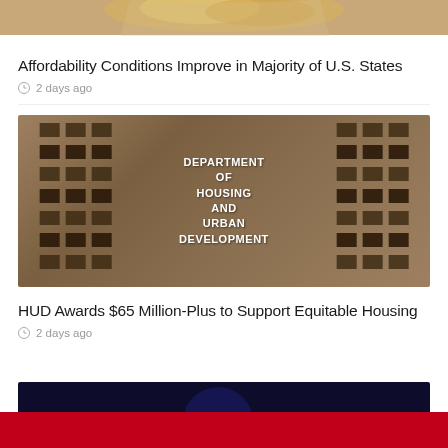[Figure (photo): Partial image of coins or bread at top of page, cropped]
Affordability Conditions Improve in Majority of U.S. States
2 days ago
[Figure (photo): Photo of the Department of Housing and Urban Development building facade with HUD sign reading DEPARTMENT OF HOUSING AND URBAN DEVELOPMENT]
HUD Awards $65 Million-Plus to Support Equitable Housing
2 days ago
[Figure (photo): Partial image at bottom, dark blue/space background, partially visible]